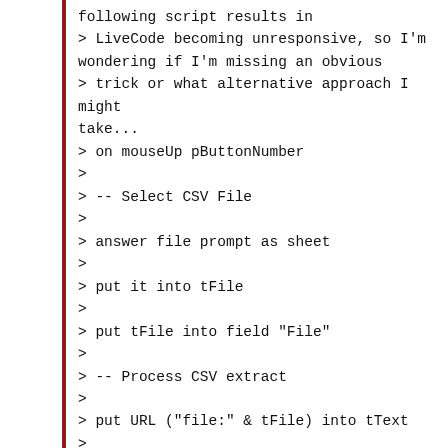following script results in
> LiveCode becoming unresponsive, so I'm
wondering if I'm missing an obvious
> trick or what alternative approach I might
take...
> on mouseUp pButtonNumber
>
> -- Select CSV File
>
> answer file prompt as sheet
>
> put it into tFile
>
> put tFile into field "File"
>
> -- Process CSV extract
>
> put URL ("file:" & tFile) into tText
>
> put line 1 of tText into field "List"
>
> filter lines of tText with "*tString*"
>